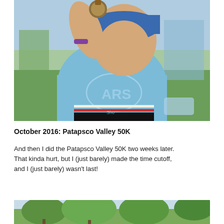[Figure (photo): Person in light blue ARS t-shirt and blue headband/hat, holding up a race medal. Sitting on grass at an outdoor race event. Others visible in background.]
October 2016: Patapsco Valley 50K
And then I did the Patapsco Valley 50K two weeks later. That kinda hurt, but I (just barely) made the time cutoff, and I (just barely) wasn't last!
[Figure (photo): Partial view of trees and outdoor race course scenery, cropped at bottom of page.]